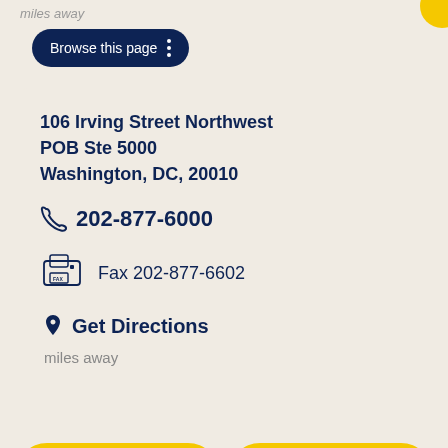miles away
[Figure (screenshot): Browse this page navigation button with dark navy background and three vertical dots menu icon]
106 Irving Street Northwest
POB Ste 5000
Washington, DC, 20010
202-877-6000
Fax 202-877-6602
Get Directions
miles away
Book an Appointment
(202) 877-6000